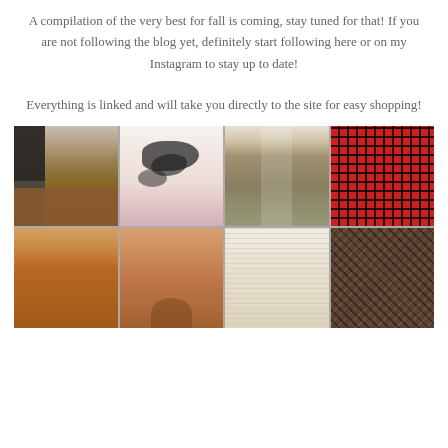A compilation of the very best for fall is coming, stay tuned for that! If you are not following the blog yet, definitely start following here or on my Instagram to stay up to date!
Everything is linked and will take you directly to the site for easy shopping!
[Figure (photo): A 4x2 grid of fall fashion clothing items including colorblock sweater, cow print sweater, olive pleated skirt, red plaid skirt, rust orange top, rust wrap top, cream knit sweater, and brown plaid coat]